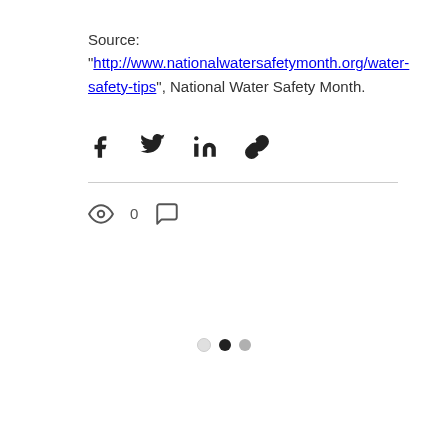Source: “http://www.nationalwatersafetymonth.org/water-safety-tips”, National Water Safety Month.
[Figure (infographic): Social share icons: Facebook, Twitter, LinkedIn, and link/chain icon]
[Figure (infographic): Page interaction row with eye/views icon showing 0, comment bubble icon, and a red heart/like icon on the right]
[Figure (infographic): Pagination dots: empty circle, filled black circle, gray circle]